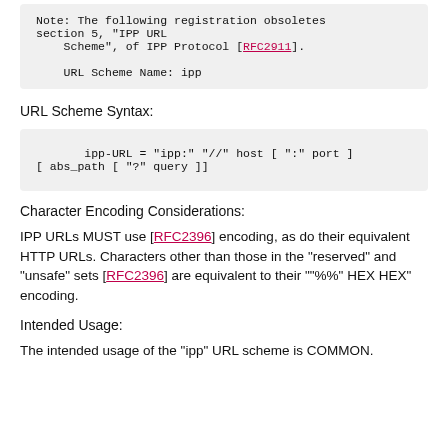Note:  The following registration obsoletes section 5, "IPP URL Scheme", of IPP Protocol [RFC2911].
URL Scheme Name:  ipp
URL Scheme Syntax:
ipp-URL = "ipp:" "//" host [ ":" port ] [ abs_path [ "?" query ]]
Character Encoding Considerations:
IPP URLs MUST use [RFC2396] encoding, as do their equivalent HTTP URLs. Characters other than those in the "reserved" and "unsafe" sets [RFC2396] are equivalent to their "%" HEX HEX" encoding.
Intended Usage:
The intended usage of the "ipp" URL scheme is COMMON.